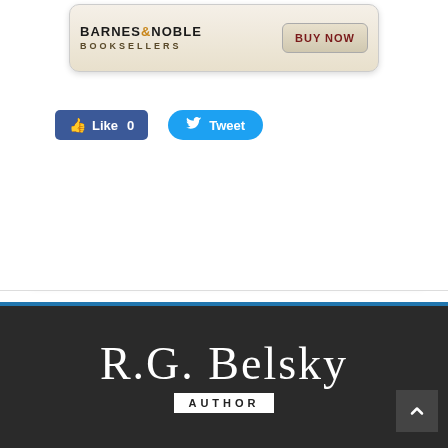[Figure (logo): Barnes & Noble Booksellers banner with BUY NOW button]
[Figure (screenshot): Facebook Like button showing count 0]
[Figure (screenshot): Twitter Tweet button]
0 Comments
[Figure (logo): R.G. Belsky Author logo/signature on dark background with AUTHOR badge and scroll-up arrow button]